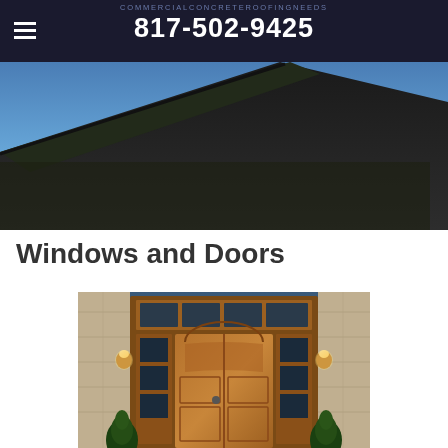COMMERCIALCONCRETEROOFINGNEEDS
817-502-9425
[Figure (photo): Exterior roofline of a house against a blue dusk sky, showing dark roof edge and eaves]
Windows and Doors
[Figure (photo): Elegant wooden front door with glass sidelights and transom windows, flanked by wall sconce lights and small evergreen shrubs]